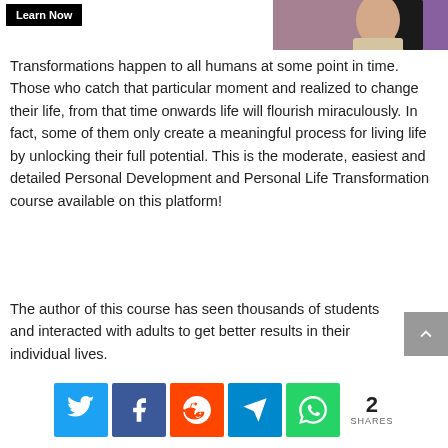[Figure (other): Learn Now button (dark background with white text)]
[Figure (photo): Photo of a woman with dark hair on a purple/pink background]
Transformations happen to all humans at some point in time. Those who catch that particular moment and realized to change their life, from that time onwards life will flourish miraculously. In fact, some of them only create a meaningful process for living life by unlocking their full potential. This is the moderate, easiest and detailed Personal Development and Personal Life Transformation course available on this platform!
The author of this course has seen thousands of students and interacted with adults to get better results in their individual lives.
[Figure (infographic): Social share buttons: Twitter, Facebook, Reddit, Telegram, WhatsApp; share count: 2 SHARES]